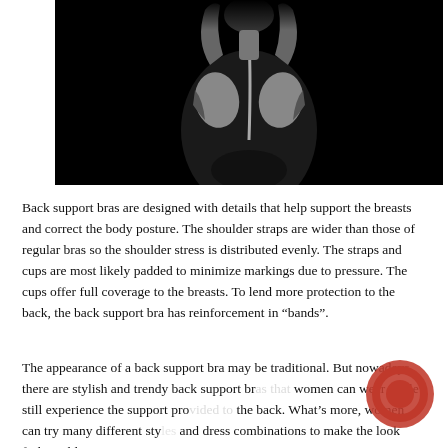[Figure (photo): Black and white artistic photograph of a person's bare back, viewed from behind, with arms raised. High contrast studio lighting against a black background.]
Back support bras are designed with details that help support the breasts and correct the body posture. The shoulder straps are wider than those of regular bras so the shoulder stress is distributed evenly.  The straps and cups are most likely padded to minimize markings due to pressure. The cups offer full coverage to the breasts.  To lend more protection to the back, the back support bra has reinforcement in “bands”.
The appearance of a back support bra may be traditional.  But nowadays there are stylish and trendy back support bras that women can wear while still experience the support provided to the back. What’s more,  women can try many different styles and dress combinations to make the look fashionable.  For